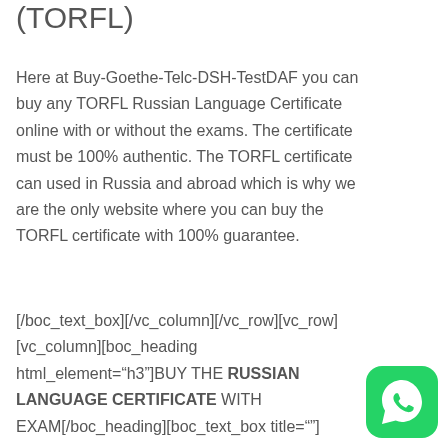(TORFL)
Here at Buy-Goethe-Telc-DSH-TestDAF you can buy any TORFL Russian Language Certificate online with or without the exams. The certificate must be 100% authentic. The TORFL certificate can used in Russia and abroad which is why we are the only website where you can buy the TORFL certificate with 100% guarantee.
[/boc_text_box][/vc_column][/vc_row][vc_row][vc_column][boc_heading html_element="h3"]BUY THE RUSSIAN LANGUAGE CERTIFICATE WITH EXAM[/boc_heading][boc_text_box title=""]
[Figure (logo): WhatsApp green button icon]